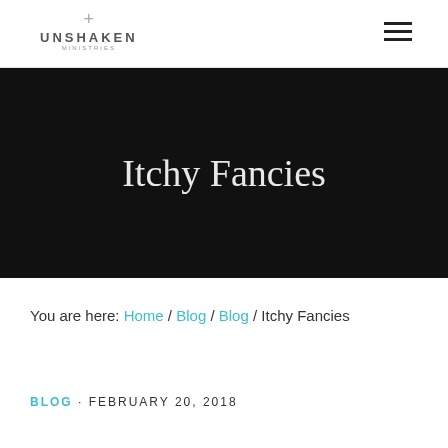UNSHAKEN MINISTRIES
Itchy Fancies
You are here: Home / Blog / Blog / Itchy Fancies
BLOG · FEBRUARY 20, 2018